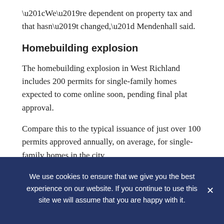“We’re dependent on property tax and that hasn’t changed,” Mendenhall said.
Homebuilding explosion
The homebuilding explosion in West Richland includes 200 permits for single-family homes expected to come online soon, pending final plat approval.
Compare this to the typical issuance of just over 100 permits approved annually, on average, for single-family homes in the city.
West Richland estimates 2.5 residents at each lot, giving the upcoming development the ability to add 3% to the
We use cookies to ensure that we give you the best experience on our website. If you continue to use this site we will assume that you are happy with it.